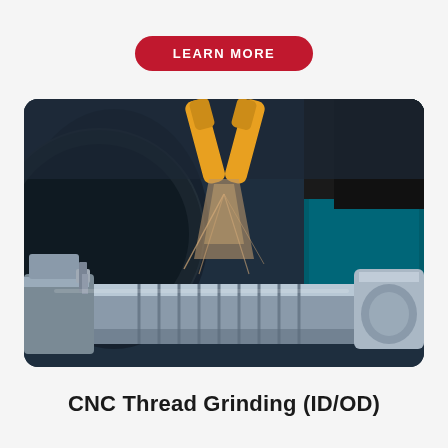LEARN MORE
[Figure (photo): Close-up photograph of a CNC thread grinding machine in operation, showing a threaded metal workpiece being ground by two yellow-handled grinding tools, with metallic chips/sparks visible and machine components in the background]
CNC Thread Grinding (ID/OD)